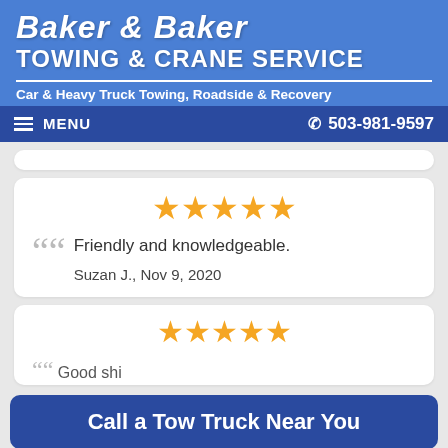Baker & Baker Towing & Crane Service
Car & Heavy Truck Towing, Roadside & Recovery
MENU  503-981-9597
[Figure (other): Five gold star rating]
Friendly and knowledgeable.
Suzan J., Nov 9, 2020
[Figure (other): Five gold star rating (second review card)]
Good shi...
Call a Tow Truck Near You